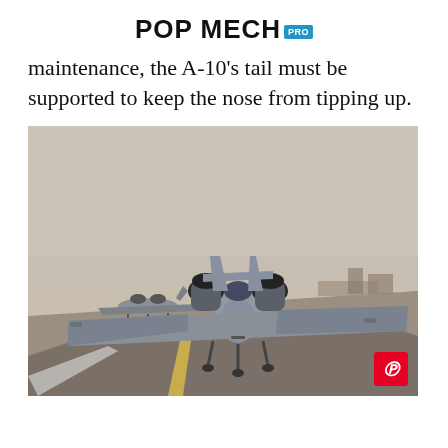POP MECH PRO
maintenance, the A-10's tail must be supported to keep the nose from tipping up.
[Figure (photo): Two A-10 Thunderbolt II aircraft on a runway, front-facing view showing twin engines and wide wings. The lead aircraft is close-up and prominent, a second aircraft is visible in the background to the left. Desert/arid environment with flat terrain and hazy sky. A Pinterest share button appears in the bottom-right corner of the image.]